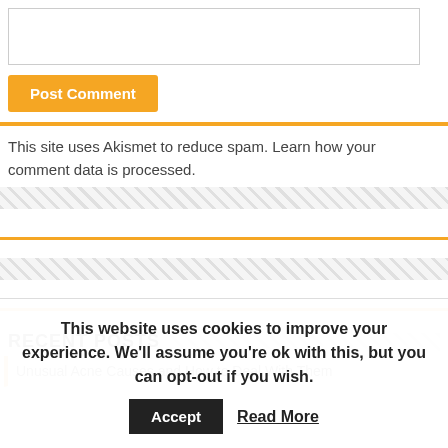[Figure (other): Comment input text box (empty)]
Post Comment
This site uses Akismet to reduce spam. Learn how your comment data is processed.
RECENT POSTS
Unusual Acne Causes and How to Deal With Them
This website uses cookies to improve your experience. We'll assume you're ok with this, but you can opt-out if you wish.
Accept
Read More